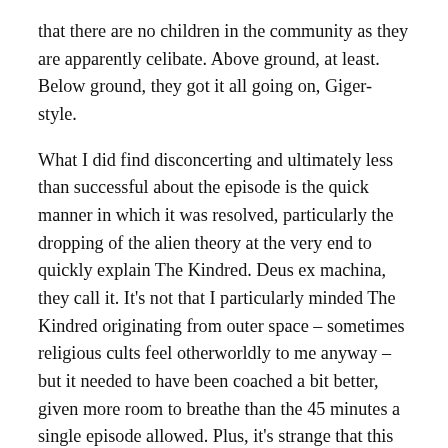that there are no children in the community as they are apparently celibate. Above ground, at least. Below ground, they got it all going on, Giger-style.

What I did find disconcerting and ultimately less than successful about the episode is the quick manner in which it was resolved, particularly the dropping of the alien theory at the very end to quickly explain The Kindred. Deus ex machina, they call it. It's not that I particularly minded The Kindred originating from outer space – sometimes religious cults feel otherworldly to me anyway – but it needed to have been coached a bit better, given more room to breathe than the 45 minutes a single episode allowed. Plus, it's strange that this episode was a stand-alone entry in The X-Files lore because it so easily could have become a component of the overall series mythology. At any rate,